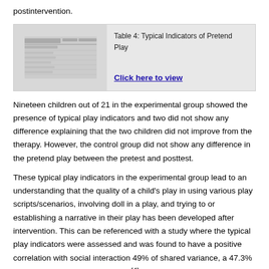postintervention.
[Figure (table-as-image): Thumbnail image of Table 4: Typical Indicators of Pretend Play with a Click here to view link]
Nineteen children out of 21 in the experimental group showed the presence of typical play indicators and two did not show any difference explaining that the two children did not improve from the therapy. However, the control group did not show any difference in the pretend play between the pretest and posttest.
These typical play indicators in the experimental group lead to an understanding that the quality of a child's play in using various play scripts/scenarios, involving doll in a play, and trying to or establishing a narrative in their play has been developed after intervention. This can be referenced with a study where the typical play indicators were assessed and was found to have a positive correlation with social interaction 49% of shared variance, a 47.3% increase from the pretest scores,[4] proving that pretend play improved social skills of children with autism as listed in one of the objectives in this study.